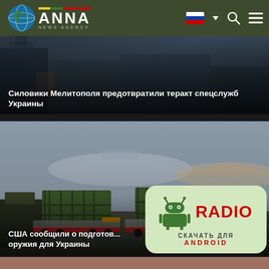ANNA NEWS AGENCY
[Figure (screenshot): News article card with dark industrial background - article about security forces in Melitopol preventing a Ukrainian special services terrorist attack]
Силовики Мелитополя предотвратили теракт спецслужб Украины
[Figure (screenshot): News article card showing military cargo - green ammunition crates on transport vehicles near aircraft, article about USA announcing preparation of weapons for Ukraine]
США сообщили о подготов... оружия для Украины
[Figure (screenshot): Radio app advertisement popup - Android app download button with Russian text СКАЧАТЬ ДЛЯ ANDROID]